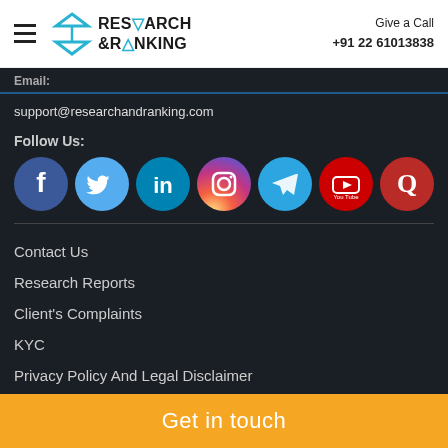Research & Ranking | Give a Call +91 22 61013838
Email:
support@researchandranking.com
Follow Us:
[Figure (illustration): Row of seven circular social media icons: Facebook (dark blue), Twitter (light blue), LinkedIn (teal blue), Instagram (gradient pink/orange), Telegram (blue), YouTube (red), Quora (red)]
Contact Us
Research Reports
Client's Complaints
KYC
Privacy Policy And Legal Disclaimer
Website Disclaimer
Get in touch